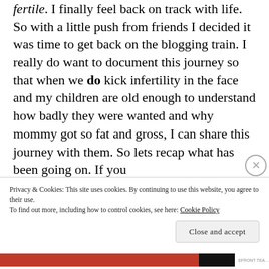fertile. I finally feel back on track with life. So with a little push from friends I decided it was time to get back on the blogging train. I really do want to document this journey so that when we do kick infertility in the face and my children are old enough to understand how badly they were wanted and why mommy got so fat and gross, I can share this journey with them. So lets recap what has been going on. If you
Privacy & Cookies: This site uses cookies. By continuing to use this website, you agree to their use.
To find out more, including how to control cookies, see here: Cookie Policy
Close and accept